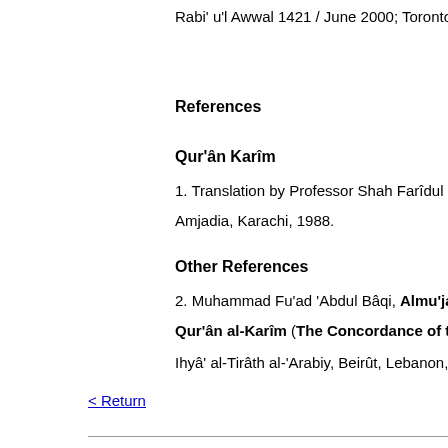Rabi' u'l Awwal 1421 / June 2000; Toronto, Cana
References
Qur'ân Karîm
1. Translation by Professor Shah Farîdul Haque,
Amjadia, Karachi, 1988.
Other References
2. Muhammad Fu'ad 'Abdul Bâqi, Almu'jam al-m
Qur'ân al-Karîm (The Concordance of the Nob
Ihyâ' al-Tirâth al-'Arabiy, Beirût, Lebanon, n.d.
< Return